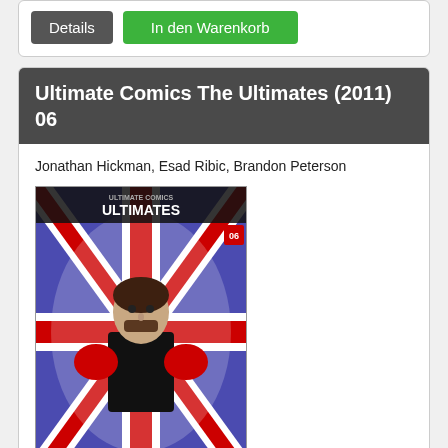[Figure (screenshot): Two buttons: 'Details' (gray) and 'In den Warenkorb' (green) in a white card]
Ultimate Comics The Ultimates (2011) 06
Jonathan Hickman, Esad Ribic, Brandon Peterson
[Figure (illustration): Comic book cover of Ultimate Comics The Ultimates issue 06, showing a superhero figure with Union Jack design and red gloves]
3,50 EUR (inkl. 7 % MwSt.)
zzgl. Versandkosten
Lieferzeit: 1-10 Werktage